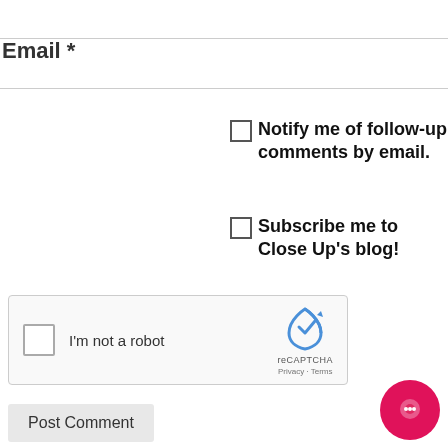Email *
Notify me of follow-up comments by email.
Subscribe me to Close Up's blog!
[Figure (other): reCAPTCHA widget showing checkbox, 'I'm not a robot' text, reCAPTCHA logo, and Privacy/Terms links]
Post Comment
[Figure (other): Pink circular chat bubble button in bottom right corner]